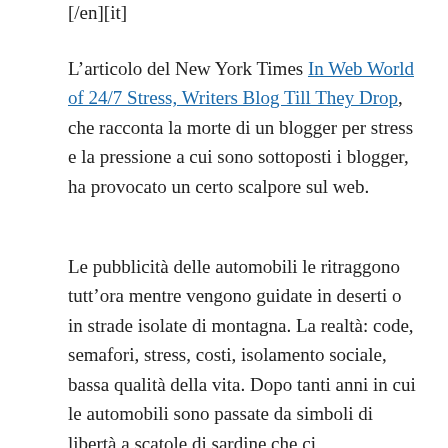[/en][it]
L'articolo del New York Times In Web World of 24/7 Stress, Writers Blog Till They Drop, che racconta la morte di un blogger per stress e la pressione a cui sono sottoposti i blogger, ha provocato un certo scalpore sul web.
Le pubblicità delle automobili le ritraggono tutt'ora mentre vengono guidate in deserti o in strade isolate di montagna. La realtà: code, semafori, stress, costi, isolamento sociale, bassa qualità della vita. Dopo tanti anni in cui le automobili sono passate da simboli di libertà a scatole di sardine che ci imprigionano, l'immagine della libertà associata alle automobili non muore.